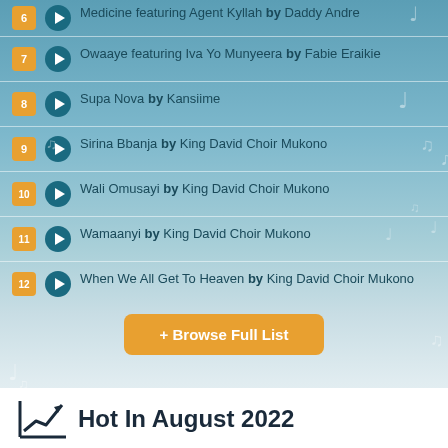6 Medicine featuring Agent Kyllah by Daddy Andre
7 Owaaye featuring Iva Yo Munyeera by Fabie Eraikie
8 Supa Nova by Kansiime
9 Sirina Bbanja by King David Choir Mukono
10 Wali Omusayi by King David Choir Mukono
11 Wamaanyi by King David Choir Mukono
12 When We All Get To Heaven by King David Choir Mukono
+ Browse Full List
Hot In August 2022